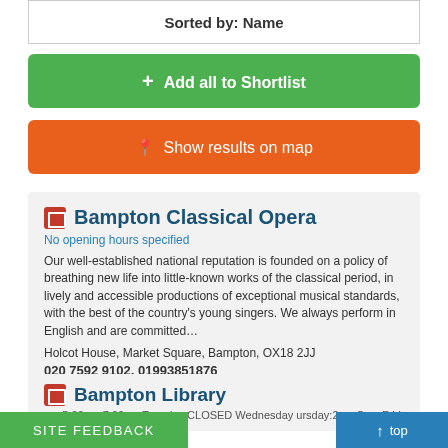Sorted by: Name
+ Add all to Shortlist
Show results on map
Bampton Classical Opera
No opening hours specified
Our well-established national reputation is founded on a policy of breathing new life into little-known works of the classical period, in lively and accessible productions of exceptional musical standards, with the best of the country's young singers. We always perform in English and are committed…
Holcot House, Market Square, Bampton, OX18 2JJ
020 7592 9102, 01993851876
Email  Website  Add to Shortlist
Bampton Library
om 5.30pm-7.00pm Tuesday CLOSED Wednesday ursday:2pm-5pm Friday CLOSED Saturday
Site feedback
top